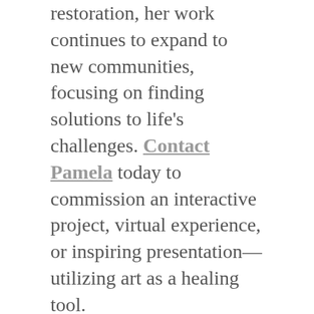restoration, her work continues to expand to new communities, focusing on finding solutions to life's challenges. Contact Pamela today to commission an interactive project, virtual experience, or inspiring presentation—utilizing art as a healing tool.
Pamela has been an ArtPrize artist since 2009
See Other ArtPrize Works: ArtPrize 2009 | ArtPrize 2011 | ArtPrize 2012 | ArtPrize 2013 | ArtPrize 2014 | ArtPrize 2015 | ArtPrize 2016 | ArtPrize 2017 | ArtPrize 2018
BOOK PAMELA FOR YOUR PROJECT OR EVENT!
Book Pamela for your corporate art, community, school, or special event, and experience the healing